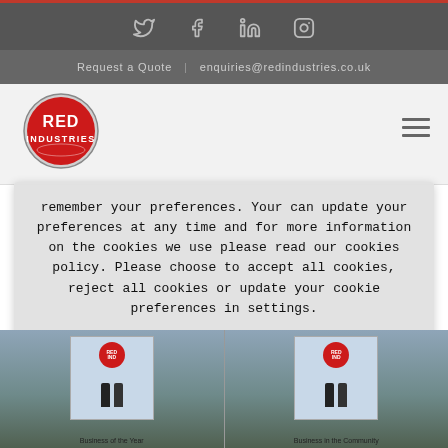Social icons: Twitter, Facebook, LinkedIn, Instagram
Request a Quote | enquiries@redindustries.co.uk
[Figure (logo): Red Industries circular logo with red background and white text]
remember your preferences. Your can update your preferences at any time and for more information on the cookies we use please read our cookies policy. Please choose to accept all cookies, reject all cookies or update your cookie preferences in settings.
Settings | Accept All | Reject
[Figure (photo): Two award plaques side by side showing Business of the Year and Business in the Community awards with Red Industries logo]